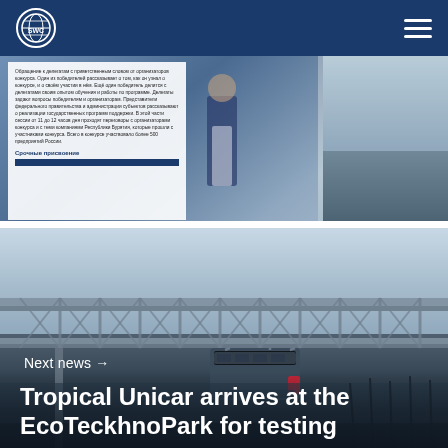SWC logo and navigation header
[Figure (photo): Top photo strip showing a document/notice board panel with Russian text on the left, a person in a vest standing in the center, and a landscape/field on the right]
[Figure (photo): Large photo of a suspended transit pod (Tropical Unicar) hanging from a metal truss/rail structure, with bare trees and flat landscape in the background under an overcast sky]
Next news →
Tropical Unicar arrives at the EcoTeckhnoPark for testing